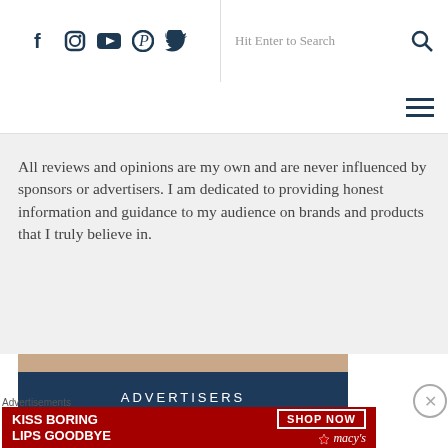Social icons (Facebook, Instagram, YouTube, Pinterest, Twitter) | Hit Enter to Search | Search icon
Hamburger menu icon
All reviews and opinions are my own and are never influenced by sponsors or advertisers. I am dedicated to providing honest information and guidance to my audience on brands and products that I truly believe in.
ADVERTISERS
Advertisements
[Figure (illustration): Macy's advertisement banner: KISS BORING LIPS GOODBYE with SHOP NOW button and Macy's star logo on red background]